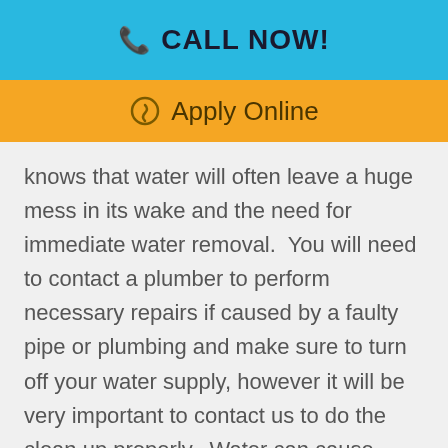CALL NOW!
Apply Online
knows that water will often leave a huge mess in its wake and the need for immediate water removal.  You will need to contact a plumber to perform necessary repairs if caused by a faulty pipe or plumbing and make sure to turn off your water supply, however it will be very important to contact us to do the clean up properly.  Water can cause serious issues for the integrity of the home so the cleanup and removal should begin as soon as